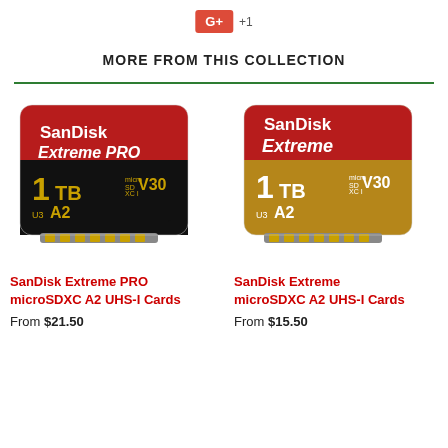[Figure (logo): Google+ +1 button]
MORE FROM THIS COLLECTION
[Figure (photo): SanDisk Extreme PRO microSDXC 1TB A2 V30 UHS-I card — red and black design]
[Figure (photo): SanDisk Extreme microSDXC 1TB A2 V30 UHS-I card — red and gold design]
SanDisk Extreme PRO microSDXC A2 UHS-I Cards
From $21.50
SanDisk Extreme microSDXC A2 UHS-I Cards
From $15.50